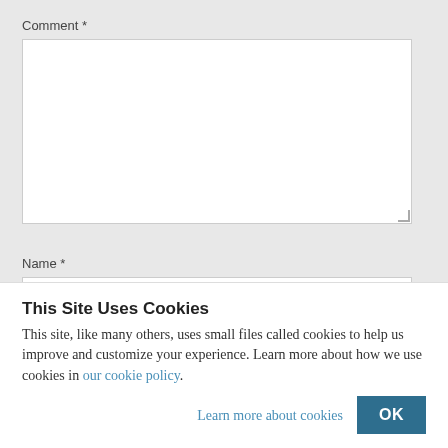Comment *
[Figure (other): Empty comment textarea input box with resize handle]
Name *
[Figure (other): Empty name text input box]
This Site Uses Cookies
This site, like many others, uses small files called cookies to help us improve and customize your experience. Learn more about how we use cookies in our cookie policy.
Learn more about cookies
OK